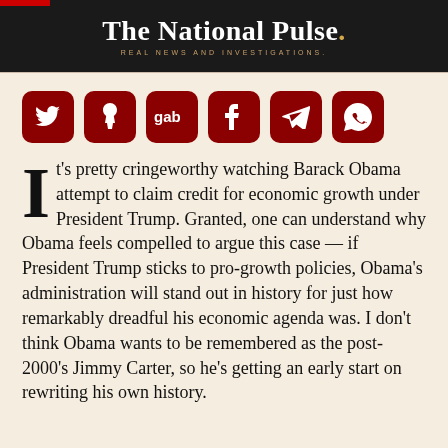The National Pulse. REAL NEWS AND INVESTIGATIONS.
[Figure (infographic): Six dark red rounded square social share buttons: Twitter, Parler, Gab, Facebook, Telegram, WhatsApp]
It's pretty cringeworthy watching Barack Obama attempt to claim credit for economic growth under President Trump. Granted, one can understand why Obama feels compelled to argue this case — if President Trump sticks to pro-growth policies, Obama's administration will stand out in history for just how remarkably dreadful his economic agenda was. I don't think Obama wants to be remembered as the post-2000's Jimmy Carter, so he's getting an early start on rewriting his own history.